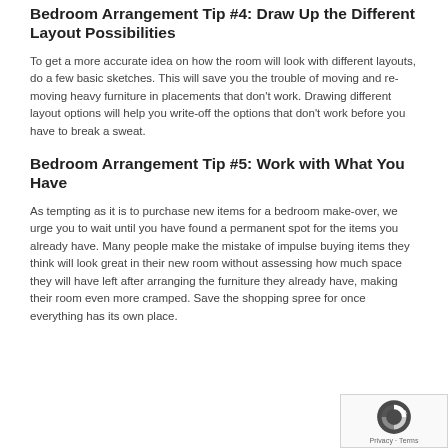Bedroom Arrangement Tip #4: Draw Up the Different Layout Possibilities
To get a more accurate idea on how the room will look with different layouts, do a few basic sketches. This will save you the trouble of moving and re-moving heavy furniture in placements that don't work. Drawing different layout options will help you write-off the options that don't work before you have to break a sweat.
Bedroom Arrangement Tip #5: Work with What You Have
As tempting as it is to purchase new items for a bedroom make-over, we urge you to wait until you have found a permanent spot for the items you already have. Many people make the mistake of impulse buying items they think will look great in their new room without assessing how much space they will have left after arranging the furniture they already have, making their room even more cramped. Save the shopping spree for once everything has its own place.